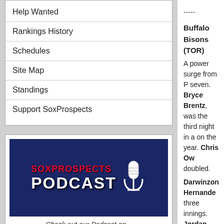Help Wanted
Rankings History
Schedules
Site Map
Standings
Support SoxProspects
[Figure (other): SoxProspects Podcast banner with microphone logo]
Check out our Podcast on...
Patreon   Apple
Libsyn   Spotify
SP News   Stitcher
-----
Buffalo Bisons (TOR)
A power surge from P seven. Bryce Brentz, was the third night in a on the year. Chris Ow doubled.
Darwinzon Hernande three innings. Jordan Tyler Thornburg, Bob with a perfect ninth.
-----
Portland Sea Dogs 8,
A strong outing from M allowed just two earne needed as he closed th
CJ Chatham highlighte part of a two-run, three two runs scored. Jarre part with an RBI double
-----
Fayetteville Woodpec